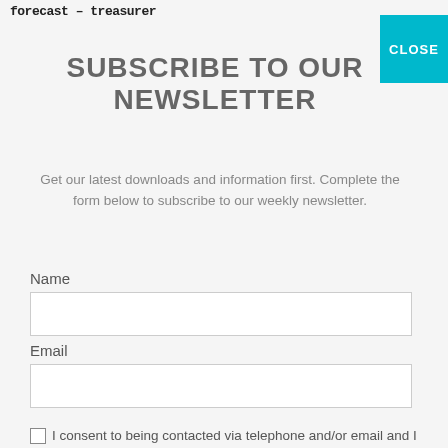forecast – treasurer
SUBSCRIBE TO OUR NEWSLETTER
Get our latest downloads and information first. Complete the form below to subscribe to our weekly newsletter.
Name
Email
I consent to being contacted via telephone and/or email and I consent to